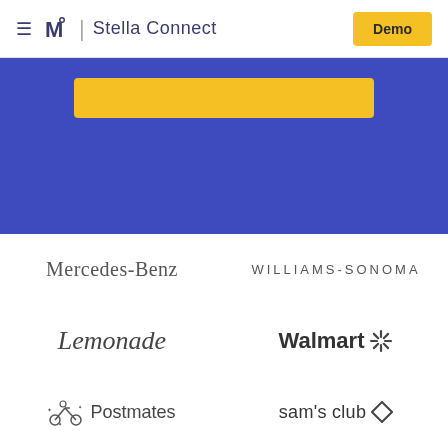≡ M | Stella Connect  [Demo]
[Figure (illustration): Blue hero banner with yellow/gold rectangular bar element]
[Figure (logo): Mercedes-Benz wordmark logo]
[Figure (logo): Williams-Sonoma wordmark logo in uppercase spaced letters]
[Figure (logo): Lemonade script/italic wordmark logo]
[Figure (logo): Walmart wordmark logo with spark/asterisk symbol]
[Figure (logo): Postmates wordmark logo with bicycle courier icon]
[Figure (logo): Sam's Club wordmark logo with diamond icon]